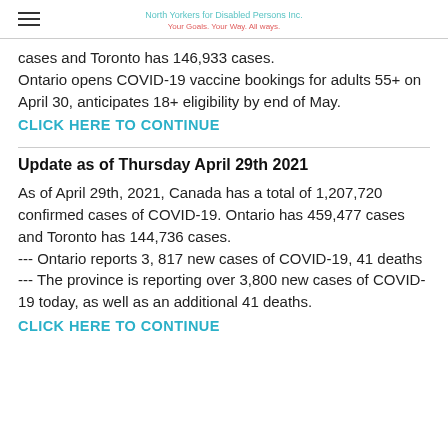North Yorkers for Disabled Persons Inc.
Your Goals. Your Way. All ways.
cases and Toronto has 146,933 cases. Ontario opens COVID-19 vaccine bookings for adults 55+ on April 30, anticipates 18+ eligibility by end of May.
CLICK HERE TO CONTINUE
Update as of Thursday April 29th 2021
As of April 29th, 2021, Canada has a total of 1,207,720 confirmed cases of COVID-19. Ontario has 459,477 cases and Toronto has 144,736 cases.
--- Ontario reports 3, 817 new cases of COVID-19, 41 deaths --- The province is reporting over 3,800 new cases of COVID-19 today, as well as an additional 41 deaths.
CLICK HERE TO CONTINUE